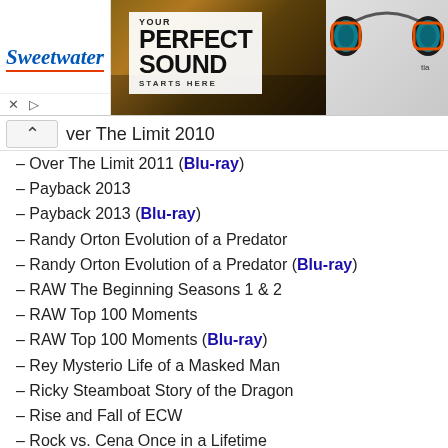[Figure (illustration): Sweetwater music store advertisement banner with logo on left, 'YOUR PERFECT SOUND STARTS HERE' text in center, and orange gaming earphones on right]
ver The Limit 2010
– Over The Limit 2011 (Blu-ray)
– Payback 2013
– Payback 2013 (Blu-ray)
– Randy Orton Evolution of a Predator
– Randy Orton Evolution of a Predator (Blu-ray)
– RAW The Beginning Seasons 1 & 2
– RAW Top 100 Moments
– RAW Top 100 Moments (Blu-ray)
– Rey Mysterio Life of a Masked Man
– Ricky Steamboat Story of the Dragon
– Rise and Fall of ECW
– Rock vs. Cena Once in a Lifetime
– Rock vs. Cena Once in a Lifetime (Blu-ray)
– Royal Rumble 2008